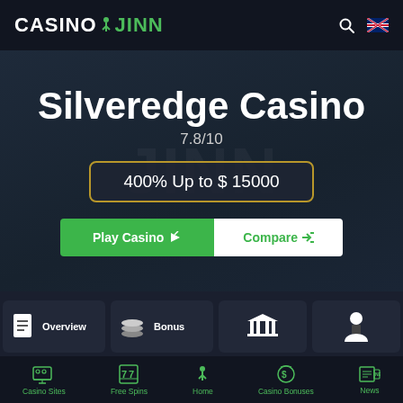CASINO JINN
Silveredge Casino
7.8/10
400% Up to $15000
Play Casino
Compare
[Figure (infographic): Navigation tile icons showing Overview (document icon) and Bonus (stacked coins icon), plus two more tiles with bank/institution icon and person/user icon]
Casino Sites | Free Spins | Home | Casino Bonuses | News